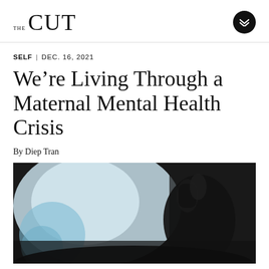THE CUT
SELF | DEC. 16, 2021
We're Living Through a Maternal Mental Health Crisis
By Diep Tran
[Figure (photo): A dark, moody photograph of a person with their hand raised near their face, silhouetted against a soft blue-lit background]